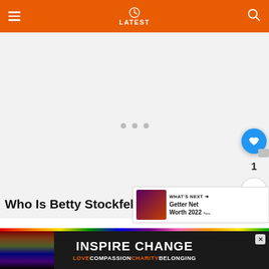LATEST
[Figure (photo): Large image placeholder area with three gray dots in center indicating loading or carousel]
[Figure (infographic): What's Next panel with thumbnail image for Getter Net Worth 2022 article]
Who Is Betty Stockfeld's Husband?
He... s (n° 27 la...
[Figure (infographic): INSPIRE CHANGE advertisement banner with rainbow bar and LOVE COMPASSION CHARITY BELONGING tagline]